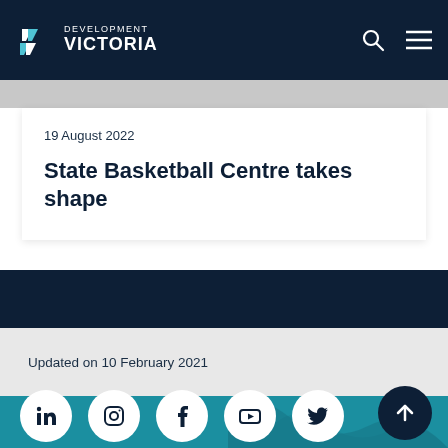DEVELOPMENT VICTORIA
19 August 2022
State Basketball Centre takes shape
Updated on 10 February 2021
[Figure (other): Social media icons: LinkedIn, Instagram, Facebook, YouTube, Twitter in white circles on teal background, with a scroll-to-top arrow button in dark navy circle]